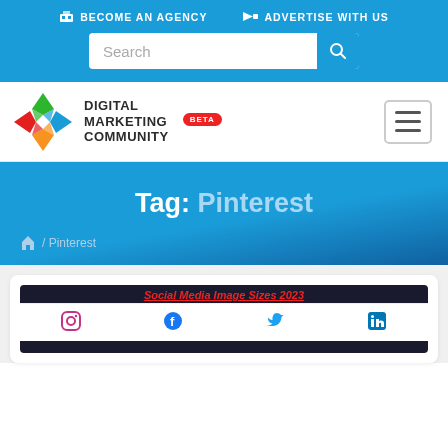BECOME AN AGENCY   ADVERTISE WITH US
Search
[Figure (logo): Digital Marketing Community logo with colorful X-shaped icon and BETA badge]
Tag: Pinterest
/ Pinterest
[Figure (screenshot): Social Media Image Sizes 2023 article card with Instagram, Facebook, Twitter, LinkedIn icons]